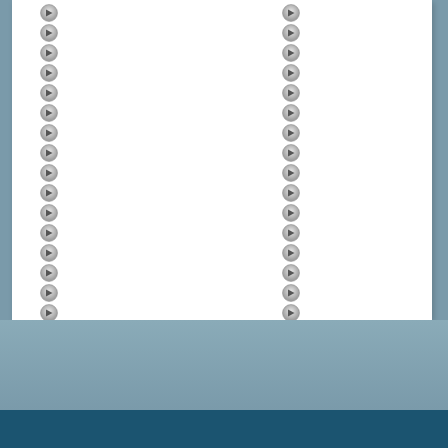[Figure (other): A white panel with two vertical columns of circular arrow bullet icons (pointing right), arranged in two columns on the left and center of the panel. The panel sits on a blue-gray background. Below the white panel is a lighter blue-gray band and a dark teal band at the bottom of the page.]